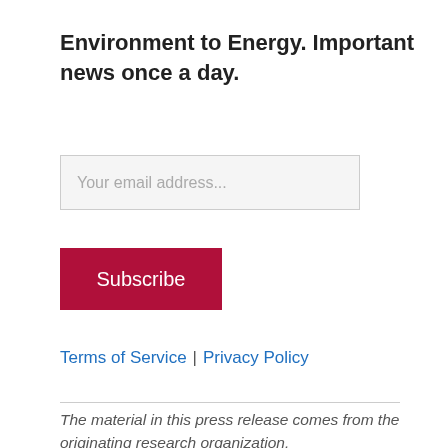Environment to Energy. Important news once a day.
Your email address...
Subscribe
Terms of Service | Privacy Policy
The material in this press release comes from the originating research organization.